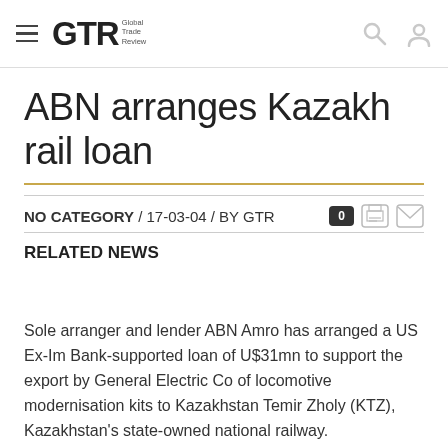GTR Global Trade Review
ABN arranges Kazakh rail loan
NO CATEGORY / 17-03-04 / BY GTR
RELATED NEWS
Sole arranger and lender ABN Amro has arranged a US Ex-Im Bank-supported loan of U$31mn to support the export by General Electric Co of locomotive modernisation kits to Kazakhstan Temir Zholy (KTZ), Kazakhstan's state-owned national railway.
KTZ will use the kits to refurbish 27 of its model TE-10